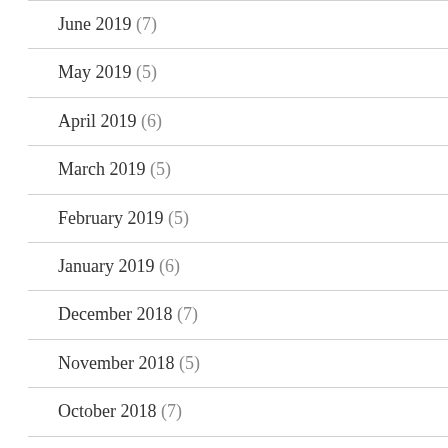June 2019 (7)
May 2019 (5)
April 2019 (6)
March 2019 (5)
February 2019 (5)
January 2019 (6)
December 2018 (7)
November 2018 (5)
October 2018 (7)
September 2018 (2)
August 2018 (1)